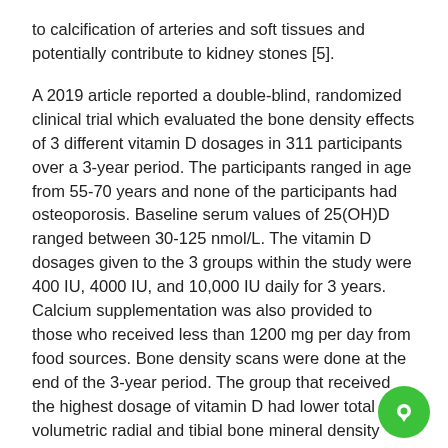to calcification of arteries and soft tissues and potentially contribute to kidney stones [5].
A 2019 article reported a double-blind, randomized clinical trial which evaluated the bone density effects of 3 different vitamin D dosages in 311 participants over a 3-year period. The participants ranged in age from 55-70 years and none of the participants had osteoporosis. Baseline serum values of 25(OH)D ranged between 30-125 nmol/L. The vitamin D dosages given to the 3 groups within the study were 400 IU, 4000 IU, and 10,000 IU daily for 3 years. Calcium supplementation was also provided to those who received less than 1200 mg per day from food sources. Bone density scans were done at the end of the 3-year period. The group that received the highest dosage of vitamin D had lower total volumetric radial and tibial bone mineral density than the other 2 groups [6]. These results show that daily vitamin D supplementation at these doses result in an inverted U-shape distribution where optimal dosing appears to be in the 4000 IU